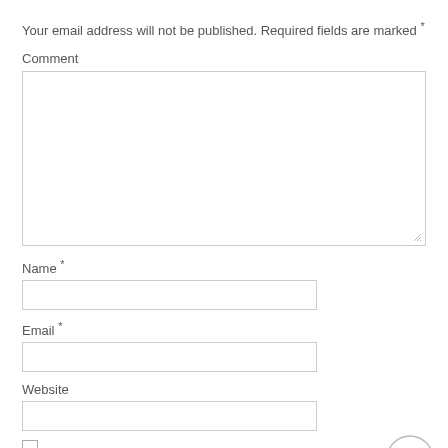Your email address will not be published. Required fields are marked *
Comment
Name *
Email *
Website
Save my name, email, and website in this browser for the next time